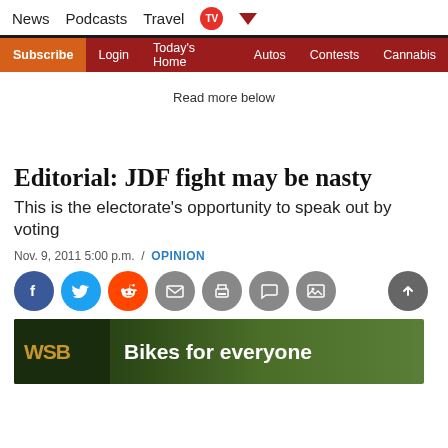News  Podcasts  Travel  TV
Subscribe  Login  Today's Home  Autos  Contests  Cannabis
Read more below
Editorial: JDF fight may be nasty
This is the electorate's opportunity to speak out by voting
Nov. 9, 2011 5:00 p.m.  /  OPINION
[Figure (infographic): Social sharing icons: Facebook, Twitter, Reddit, Email, Print, Comment, Gallery; scroll-to-top button]
[Figure (photo): WSB Bikes for everyone advertisement banner with forest background]